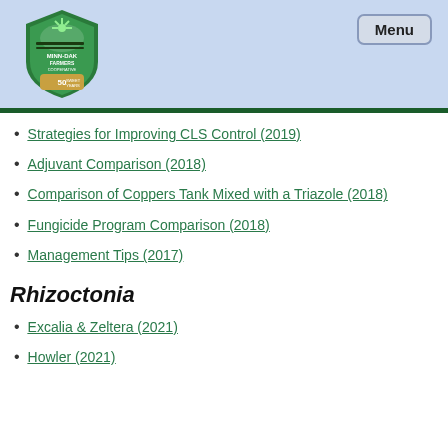Minn-Dak Farmers Cooperative - Menu
Strategies for Improving CLS Control (2019)
Adjuvant Comparison (2018)
Comparison of Coppers Tank Mixed with a Triazole (2018)
Fungicide Program Comparison (2018)
Management Tips (2017)
Rhizoctonia
Excalia & Zeltera (2021)
Howler (2021)